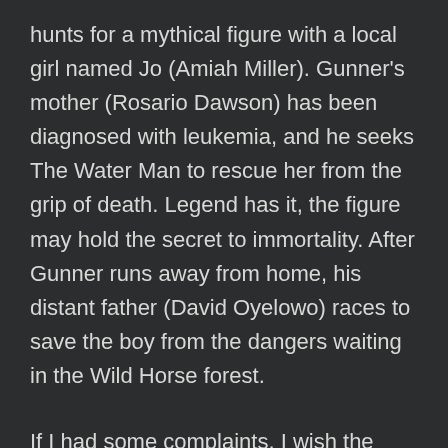hunts for a mythical figure with a local girl named Jo (Amiah Miller). Gunner's mother (Rosario Dawson) has been diagnosed with leukemia, and he seeks The Water Man to rescue her from the grip of death. Legend has it, the figure may hold the secret to immortality. After Gunner runs away from home, his distant father (David Oyelowo) races to save the boy from the dangers waiting in the Wild Horse forest.
If I had some complaints, I wish the movie had been longer. We needed a payoff for the stone itself, and I wasn't a fan of the movie abruptly